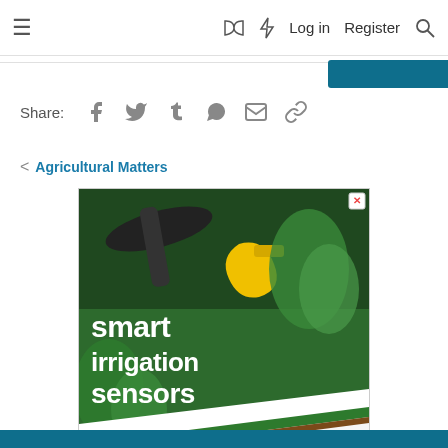≡  🔖  ⚡  Log in  Register  🔍
Share: Facebook Twitter Tumblr WhatsApp Email Link
< Agricultural Matters
[Figure (photo): Advertisement for Soil Essentials showing irrigation equipment among green plants with text 'smart irrigation sensors' and 'soilessentials precision farming solutions']